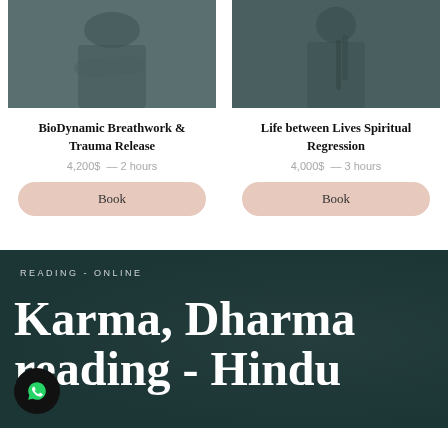[Figure (photo): Black and white photo of a person holding their abdomen, wellness/breathwork session]
BioDynamic Breathwork & Trauma Release
4,200$ — 2 hours
Book
[Figure (photo): Black and white photo of a woman with braided hair, spiritual/regression session]
Life between Lives Spiritual Regression
4,000$ — 3 hours
Book
READING - ONLINE
Karma, Dharma reading - Hindu